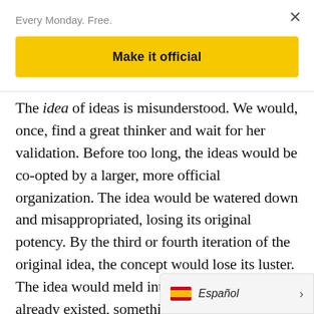Every Monday. Free.
×
Make it official
The idea of ideas is misunderstood. We would, once, find a great thinker and wait for her validation. Before too long, the ideas would be co-opted by a larger, more official organization. The idea would be watered down and misappropriated, losing its original potency. By the third or fourth iteration of the original idea, the concept would lose its luster. The idea would meld into something that already existed, something safe and calculat
Español >